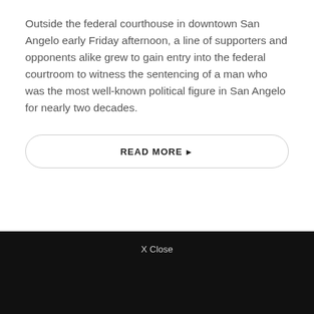Outside the federal courthouse in downtown San Angelo early Friday afternoon, a line of supporters and opponents alike grew to gain entry into the federal courtroom to witness the sentencing of a man who was the most well-known political figure in San Angelo for nearly two decades.
READ MORE ▶
X Close